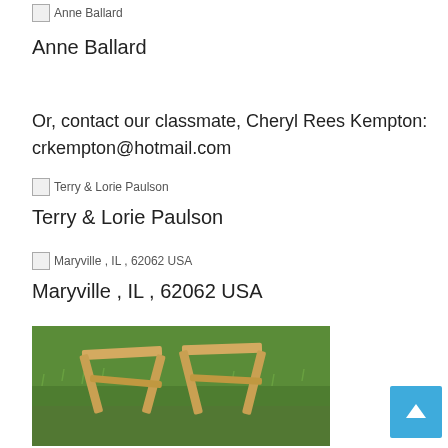[Figure (photo): Broken image placeholder for Anne Ballard]
Anne Ballard
Or, contact our classmate, Cheryl Rees Kempton:
crkempton@hotmail.com
[Figure (photo): Broken image placeholder for Terry & Lorie Paulson]
Terry & Lorie Paulson
[Figure (photo): Broken image placeholder for Maryville , IL , 62062 USA]
Maryville , IL , 62062 USA
[Figure (photo): Photo of wooden sawhorses on green grass]